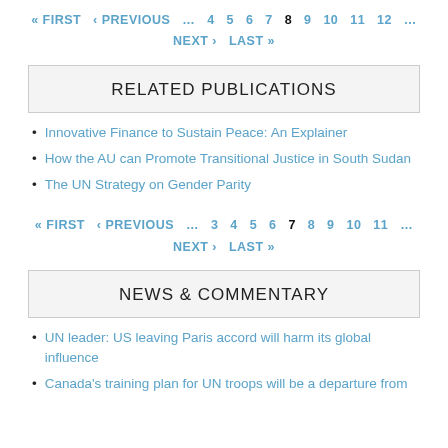« FIRST ‹ PREVIOUS … 4 5 6 7 8 9 10 11 12 … NEXT › LAST »
RELATED PUBLICATIONS
Innovative Finance to Sustain Peace: An Explainer
How the AU can Promote Transitional Justice in South Sudan
The UN Strategy on Gender Parity
« FIRST ‹ PREVIOUS … 3 4 5 6 7 8 9 10 11 … NEXT › LAST »
NEWS & COMMENTARY
UN leader: US leaving Paris accord will harm its global influence
Canada's training plan for UN troops will be a departure from